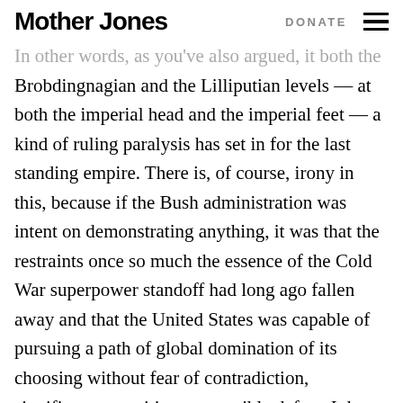Mother Jones | DONATE
In other words, as you've also argued, it both the Brobdingnagian and the Lilliputian levels — at both the imperial head and the imperial feet — a kind of ruling paralysis has set in for the last standing empire. There is, of course, irony in this, because if the Bush administration was intent on demonstrating anything, it was that the restraints once so much the essence of the Cold War superpower standoff had long ago fallen away and that the United States was capable of pursuing a path of global domination of its choosing without fear of contradiction, significant opposition, or possible defeat. It has, with remarkable success, demonstrated the opposite. As we see in the smashed Old City of Najaf, a power to destroy